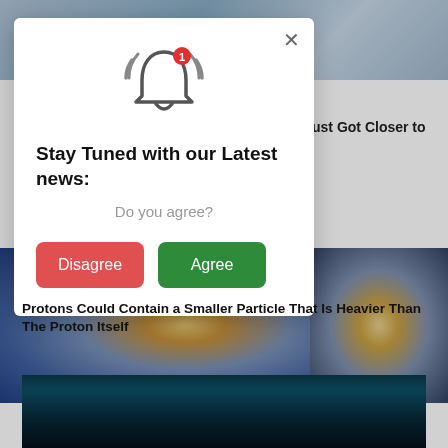[Figure (screenshot): Website page with modal notification popup overlay. Background shows science article images. Modal has bell icon with notification badge, title 'Stay Tuned with our Latest news:', subtitle 'Do you agree?', and two buttons: 'Disagree' (red) and 'Agree' (green). Visible background text 'ust Got Closer to'. Bottom shows article title 'Protons Could Contain a Smaller Particle That Is Heavier Than The Proton Itself' and a dark shower/water photo.]